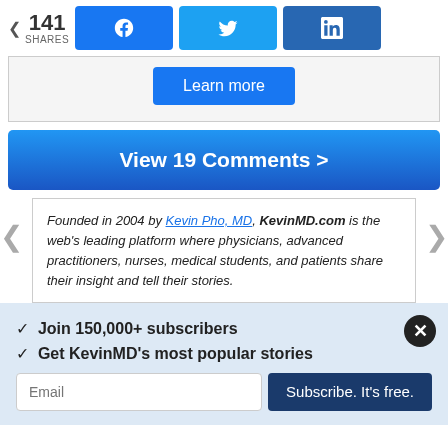< 141 SHARES
[Figure (screenshot): Social share bar with Facebook, Twitter, LinkedIn buttons]
[Figure (screenshot): Learn more button in a bordered box]
View 19 Comments >
Founded in 2004 by Kevin Pho, MD, KevinMD.com is the web's leading platform where physicians, advanced practitioners, nurses, medical students, and patients share their insight and tell their stories.
✓  Join 150,000+ subscribers
✓  Get KevinMD's most popular stories